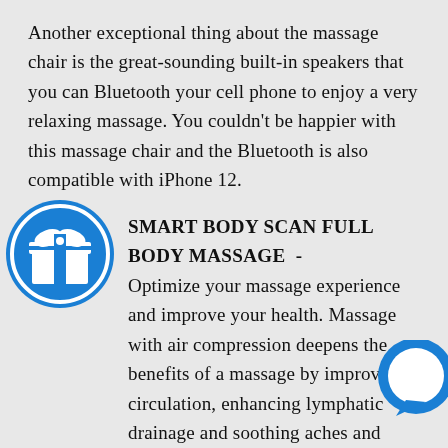Another exceptional thing about the massage chair is the great-sounding built-in speakers that you can Bluetooth your cell phone to enjoy a very relaxing massage. You couldn't be happier with this massage chair and the Bluetooth is also compatible with iPhone 12.
[Figure (illustration): Blue circle with white gift box icon]
SMART BODY SCAN FULL BODY MASSAGE - Optimize your massage experience and improve your health. Massage with air compression deepens the benefits of a massage by improving circulation, enhancing lymphatic drainage and soothing aches and pains. This 3D massage chair can automatically scan your body to adjust the massage points and massage range. The massage airbags cover the shoulder,
[Figure (illustration): Blue circle chat bubble icon in bottom right]